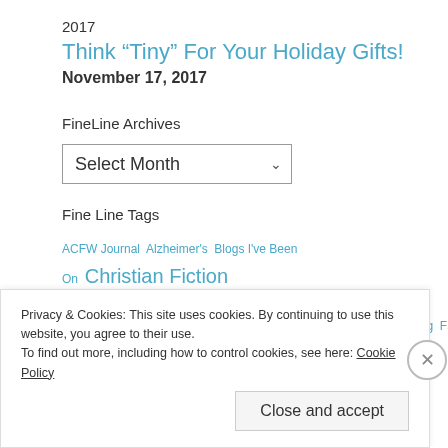2017
Think “Tiny” For Your Holiday Gifts!
November 17, 2017
FineLine Archives
Select Month
Fine Line Tags
ACFW Journal  Alzheimer's  Blogs I've Been On  Christian Fiction  Christmas  Conference  Creativity  Culture  Editing  Family
Privacy & Cookies: This site uses cookies. By continuing to use this website, you agree to their use.
To find out more, including how to control cookies, see here: Cookie Policy
Close and accept